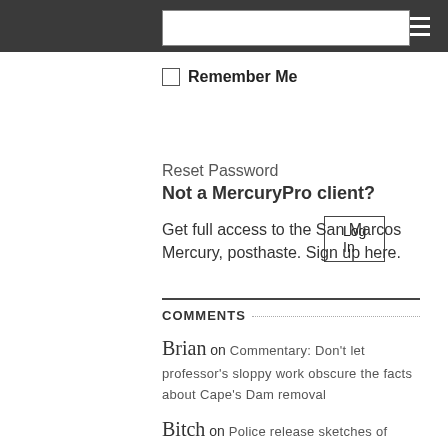Password (top bar with hamburger menu)
Password input field
Remember Me (checkbox)
Log In (button)
Reset Password
Not a MercuryPro client?
Get full access to the San Marcos Mercury, posthaste. Sign up here.
COMMENTS
Brian on Commentary: Don't let professor's sloppy work obscure the facts about Cape's Dam removal
Bitch on Police release sketches of